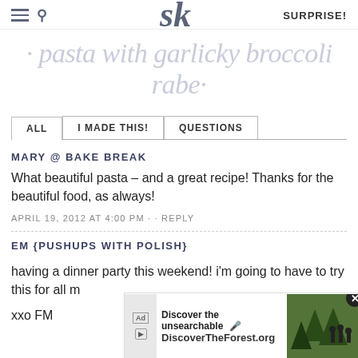SK · SURPRISE!
· pasta with garlicky broccoli rabe·
ALL  |  I MADE THIS!  |  QUESTIONS
MARY @ BAKE BREAK
What beautiful pasta – and a great recipe! Thanks for the beautiful food, as always!
APRIL 19, 2012 AT 4:00 PM · · REPLY
EM {PUSHUPS WITH POLISH}
having a dinner party this weekend! i'm going to have to try this for all m
xxo FM
[Figure (screenshot): Ad overlay: Discover the unsearchable / DiscoverTheForest.org with forest background image and close button]